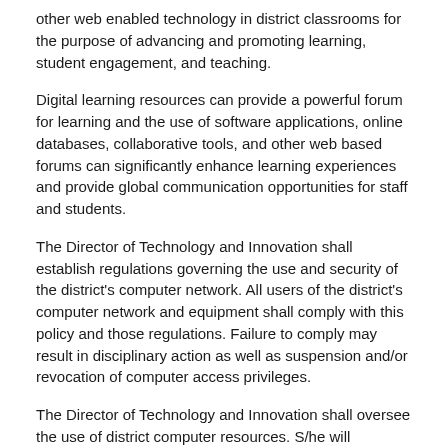other web enabled technology in district classrooms for the purpose of advancing and promoting learning, student engagement, and teaching.
Digital learning resources can provide a powerful forum for learning and the use of software applications, online databases, collaborative tools, and other web based forums can significantly enhance learning experiences and provide global communication opportunities for staff and students.
The Director of Technology and Innovation shall establish regulations governing the use and security of the district's computer network. All users of the district's computer network and equipment shall comply with this policy and those regulations. Failure to comply may result in disciplinary action as well as suspension and/or revocation of computer access privileges.
The Director of Technology and Innovation shall oversee the use of district computer resources. S/he will coordinate the preparation of in-service programs for the training and professional learning of district staff in computer skills, and for the incorporation of digital learning in all subject areas.